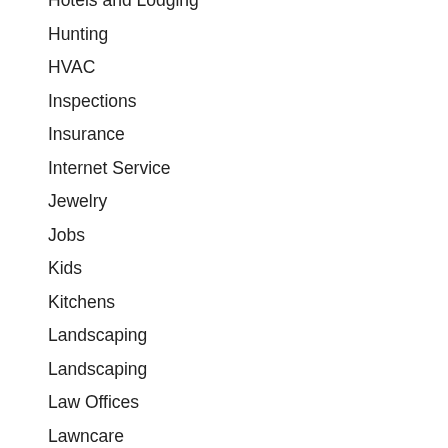Hotels and Lodging
Hunting
HVAC
Inspections
Insurance
Internet Service
Jewelry
Jobs
Kids
Kitchens
Landscaping
Landscaping
Law Offices
Lawncare
Legal
Legal Services